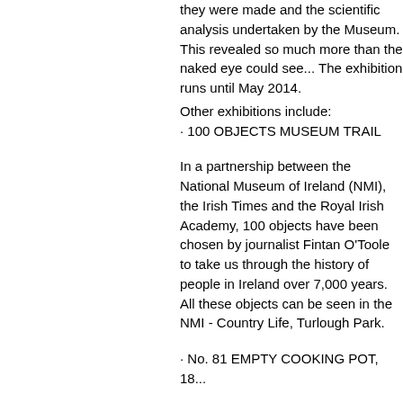they were made and the scientific analysis undertaken by the Museum. This revealed so much more than the naked eye could see... The exhibition runs until May 2014.
Other exhibitions include:
· 100 OBJECTS MUSEUM TRAIL
In a partnership between the National Museum of Ireland (NMI), the Irish Times and the Royal Irish Academy, 100 objects have been chosen by journalist Fintan O'Toole to take us through the history of people in Ireland over 7,000 years. All these objects can be seen in the NMI - Country Life, Turlough Park.
· No. 81 EMPTY COOKING POT, 18...
· No. 82 EMIGRANT'S TEAPOT, 18... 1950.
· No. 93 BOYNE CORACLE, 1928
· No. 95 EMIGRANT'S SUITCASE, ... 1950s.